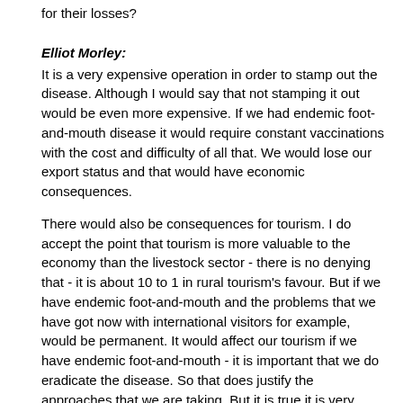for their losses?
Elliot Morley:
It is a very expensive operation in order to stamp out the disease. Although I would say that not stamping it out would be even more expensive. If we had endemic foot-and-mouth disease it would require constant vaccinations with the cost and difficulty of all that. We would lose our export status and that would have economic consequences.
There would also be consequences for tourism. I do accept the point that tourism is more valuable to the economy than the livestock sector - there is no denying that - it is about 10 to 1 in rural tourism's favour. But if we have endemic foot-and-mouth and the problems that we have got now with international visitors for example, would be permanent. It would affect our tourism if we have endemic foot-and-mouth - it is important that we do eradicate the disease. So that does justify the approaches that we are taking. But it is true it is very expensive and a lot of money has been spent - the average compensation to livestock farmers is about £250,000.
Newshost:
There has been a feeling expressed in the House of Commons that perhaps too much attention has been